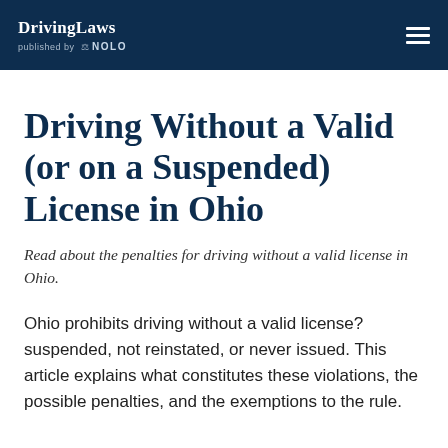DrivingLaws published by NOLO
Driving Without a Valid (or on a Suspended) License in Ohio
Read about the penalties for driving without a valid license in Ohio.
Ohio prohibits driving without a valid license?suspended, not reinstated, or never issued. This article explains what constitutes these violations, the possible penalties, and the exemptions to the rule.